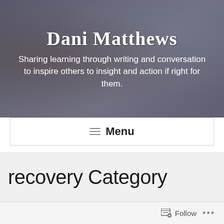[Figure (photo): Blog header hero image with blurred person reading/holding a phone in background, dark overlay, showing blog name and tagline in white text]
Dani Matthews
Sharing learning through writing and conversation to inspire others to insight and action if right for them.
≡ Menu
recovery Category
When life gives you lemons....
Follow ...